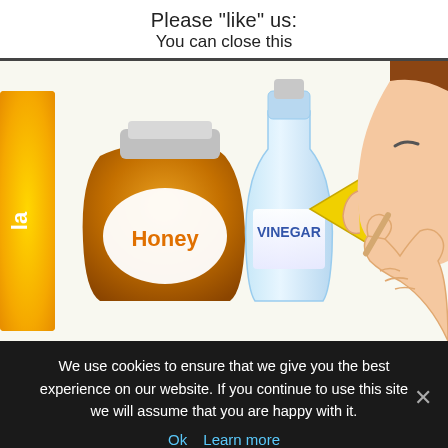Please "like" us:
You can close this
[Figure (illustration): Illustration showing a honey jar, a vinegar bottle, and a cartoon hand applying something to a face, with a yellow arrow pointing right toward the face.]
We use cookies to ensure that we give you the best experience on our website. If you continue to use this site we will assume that you are happy with it.
Ok   Learn more